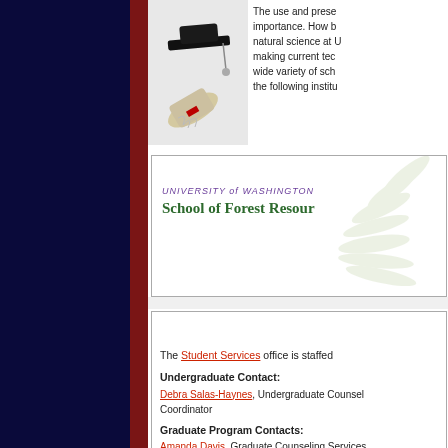The use and prese importance. How b natural science at U making current tec wide variety of sch the following institu
[Figure (illustration): Graduation cap with diploma photograph]
[Figure (logo): University of Washington School of Forest Resources logo with fern background]
The Student Services office is staffed
Undergraduate Contact:
Debra Salas-Haynes, Undergraduate Counselor/Coordinator
Graduate Program Contacts:
Amanda Davis, Graduate Counseling Services